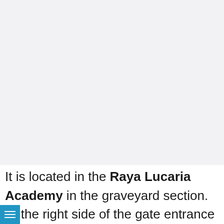[Figure (other): Large blank/white-grey rectangular image area occupying the top portion of the page]
It is located in the Raya Lucaria Academy in the graveyard section. At the right side of the gate entrance where the rotating lift is, you'll find a platform where you can drop to